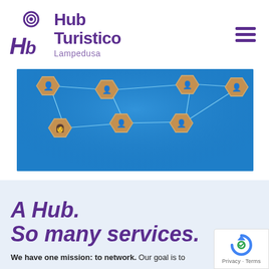[Figure (logo): Hub Turistico Lampedusa logo with purple spiral/HB monogram icon and bold purple text]
[Figure (photo): Blue background with wooden hexagonal pieces depicting business people figures connected by glowing lines in a network pattern]
A Hub.
So many services.
We have one mission: to network. Our goal is to